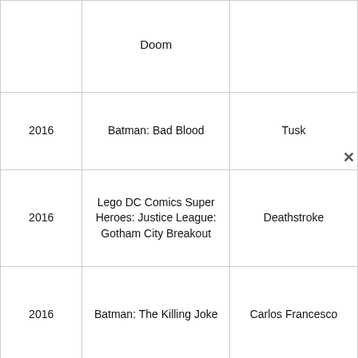| Year | Title | Role |
| --- | --- | --- |
|  | Doom |  |
| 2016 | Batman: Bad Blood | Tusk |
| 2016 | Lego DC Comics Super Heroes: Justice League: Gotham City Breakout | Deathstroke |
| 2016 | Batman: The Killing Joke | Carlos Francesco |
| 2016 | DC Super Hero Girls: Hero of the Year | Vice-Principal Gorilla Grood |
| 2016 | ... | ... |